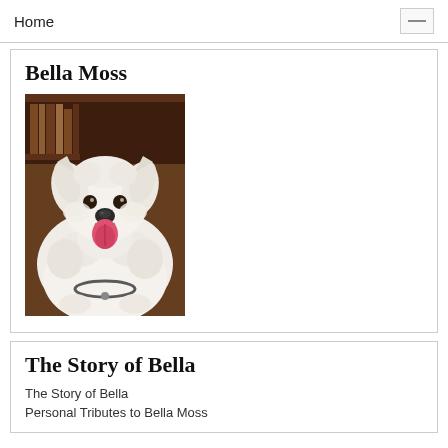Home
Bella Moss
[Figure (photo): Photo of Bella Moss, a fluffy white Samoyed dog with tongue out, sitting in front of a bookshelf background]
The Story of Bella
The Story of Bella
Personal Tributes to Bella Moss